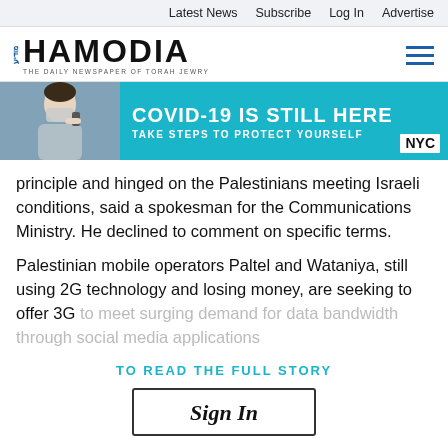Latest News  Subscribe  Log In  Advertise
[Figure (logo): Hamodia logo — The Daily Newspaper of Torah Jewry]
[Figure (infographic): COVID-19 IS STILL HERE — TAKE STEPS TO PROTECT YOURSELF — NYC banner ad with person wearing mask]
principle and hinged on the Palestinians meeting Israeli conditions, said a spokesman for the Communications Ministry. He declined to comment on specific terms.
Palestinian mobile operators Paltel and Wataniya, still using 2G technology and losing money, are seeking to offer 3G to meet surging demand for data bandwidth through social media applications
TO READ THE FULL STORY
Sign In